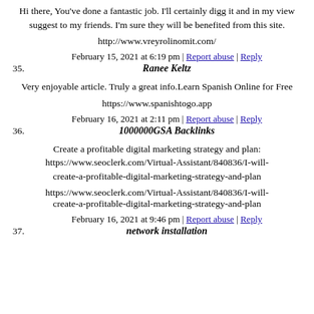Hi there, You've done a fantastic job. I'll certainly digg it and in my view suggest to my friends. I'm sure they will be benefited from this site.
http://www.vreyrolinomit.com/
February 15, 2021 at 6:19 pm | Report abuse | Reply
35. Ranee Keltz
Very enjoyable article. Truly a great info.Learn Spanish Online for Free
https://www.spanishtogo.app
February 16, 2021 at 2:11 pm | Report abuse | Reply
36. 1000000GSA Backlinks
Create a profitable digital marketing strategy and plan: https://www.seoclerk.com/Virtual-Assistant/840836/I-will-create-a-profitable-digital-marketing-strategy-and-plan
https://www.seoclerk.com/Virtual-Assistant/840836/I-will-create-a-profitable-digital-marketing-strategy-and-plan
February 16, 2021 at 9:46 pm | Report abuse | Reply
37. network installation